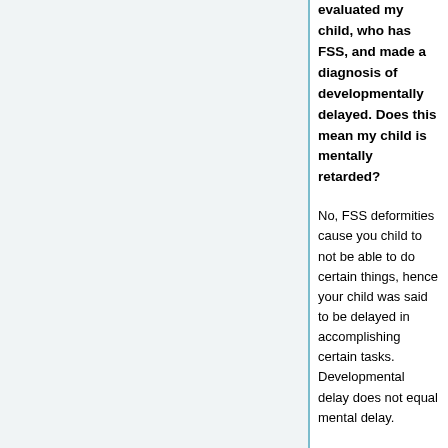evaluated my child, who has FSS, and made a diagnosis of developmentally delayed. Does this mean my child is mentally retarded?
No, FSS deformities cause you child to not be able to do certain things, hence your child was said to be delayed in accomplishing certain tasks. Developmental delay does not equal mental delay.